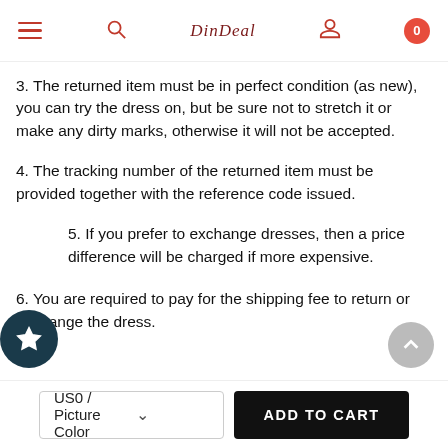Navigation header with hamburger menu, search icon, DinDeal logo, user icon, and cart badge showing 0
3. The returned item must be in perfect condition (as new), you can try the dress on, but be sure not to stretch it or make any dirty marks, otherwise it will not be accepted.
4. The tracking number of the returned item must be provided together with the reference code issued.
5. If you prefer to exchange dresses, then a price difference will be charged if more expensive.
6. You are required to pay for the shipping fee to return or exchange the dress.
US0 / Picture Color  ADD TO CART